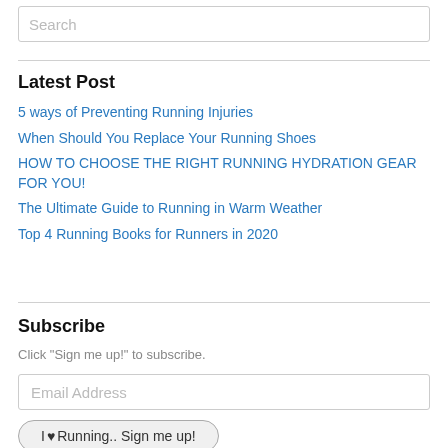Search
Latest Post
5 ways of Preventing Running Injuries
When Should You Replace Your Running Shoes
HOW TO CHOOSE THE RIGHT RUNNING HYDRATION GEAR FOR YOU!
The Ultimate Guide to Running in Warm Weather
Top 4 Running Books for Runners in 2020
Subscribe
Click "Sign me up!" to subscribe.
Email Address
I ♥ Running.. Sign me up!